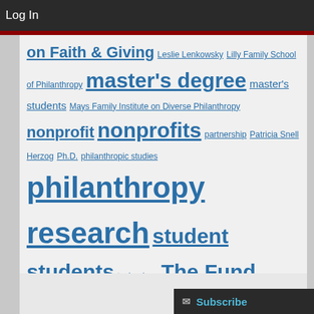Log In
on Faith & Giving Leslie Lenkowsky Lilly Family School of Philanthropy master's degree master's students Mays Family Institute on Diverse Philanthropy nonprofit nonprofits partnership Patricia Snell Herzog Ph.D. philanthropic studies philanthropy research student students technology The Fund Raising School The Patterson Foundation undergraduate volunteering women's philanthropy Women's Philanthropy Institute
Loading...
Subscribe